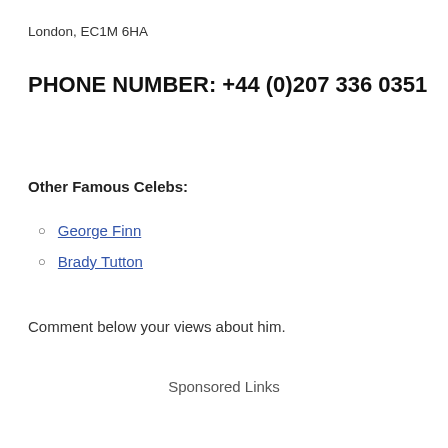London, EC1M 6HA
PHONE NUMBER: +44 (0)207 336 0351
Other Famous Celebs:
George Finn
Brady Tutton
Comment below your views about him.
Sponsored Links